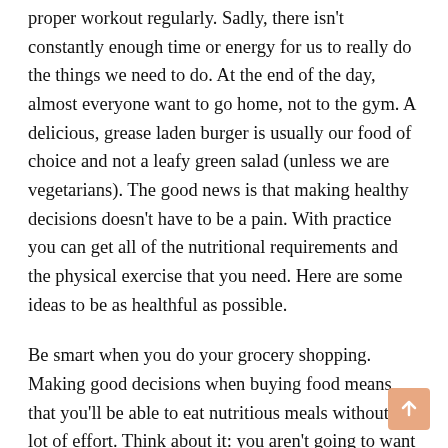proper workout regularly. Sadly, there isn't constantly enough time or energy for us to really do the things we need to do. At the end of the day, almost everyone want to go home, not to the gym. A delicious, grease laden burger is usually our food of choice and not a leafy green salad (unless we are vegetarians). The good news is that making healthy decisions doesn't have to be a pain. With practice you can get all of the nutritional requirements and the physical exercise that you need. Here are some ideas to be as healthful as possible.
Be smart when you do your grocery shopping. Making good decisions when buying food means that you'll be able to eat nutritious meals without a lot of effort. Think about it: you aren't going to want to deal with a busy store or a long drive through line at the end of the day. You want to get home immediately and have something